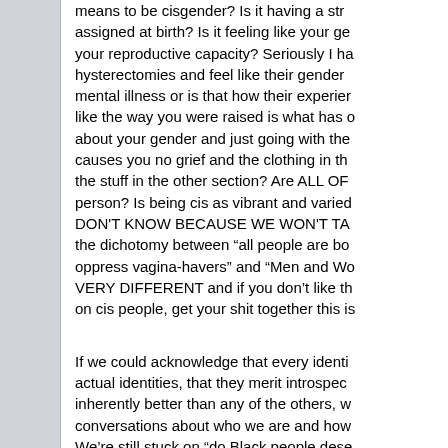means to be cisgender? Is it having a sex assigned at birth? Is it feeling like your ge your reproductive capacity? Seriously I ha hysterectomies and feel like their gender mental illness or is that how their experien like the way you were raised is what has d about your gender and just going with the causes you no grief and the clothing in th the stuff in the other section? Are ALL OF person? Is being cis as vibrant and varied DON'T KNOW BECAUSE WE WON'T TA the dichotomy between "all people are bo oppress vagina-havers" and "Men and Wo VERY DIFFERENT and if you don't like th on cis people, get your shit together this i
If we could acknowledge that every identi actual identities, that they merit introspec inherently better than any of the others, w conversations about who we are and how We're still stuck on "do Black people dese mentally ill?" "should immigrants go home and HARMFUL and I would really love if w
Quote from:    xqeWireToEvent: Unknown exte